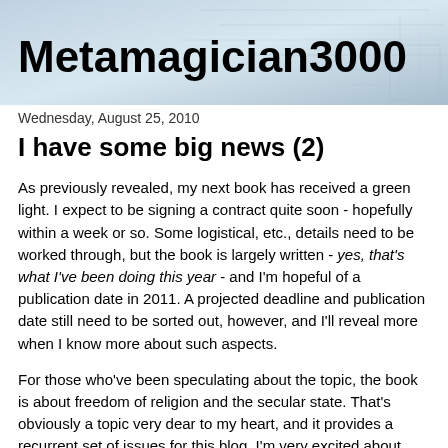[Figure (illustration): Blog header banner with light blue/grey blueprint-style background and the blog title 'Metamagician3000' in large bold black text]
Wednesday, August 25, 2010
I have some big news (2)
As previously revealed, my next book has received a green light. I expect to be signing a contract quite soon - hopefully within a week or so. Some logistical, etc., details need to be worked through, but the book is largely written - yes, that's what I've been doing this year - and I'm hopeful of a publication date in 2011. A projected deadline and publication date still need to be sorted out, however, and I'll reveal more when I know more about such aspects.
For those who've been speculating about the topic, the book is about freedom of religion and the secular state. That's obviously a topic very dear to my heart, and it provides a recurrent set of issues for this blog. I'm very excited about